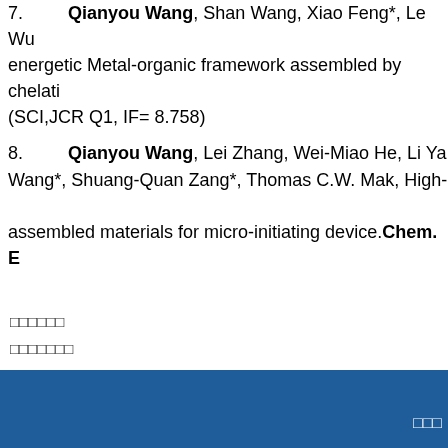7. Qianyou Wang, Shan Wang, Xiao Feng*, Le Wu... energetic Metal-organic framework assembled by chelati... (SCI,JCR Q1, IF= 8.758)
8. Qianyou Wang, Lei Zhang, Wei-Miao He, Li Ya... Wang*, Shuang-Quan Zang*, Thomas C.W. Mak, High-p... assembled materials for micro-initiating device. Chem. E...
□□□□□□
□□□□□□□
□□□